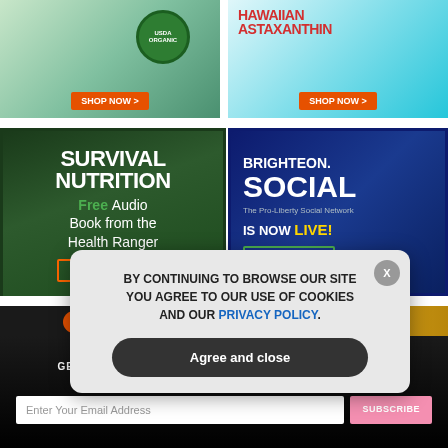[Figure (photo): Top-left advertisement with USDA Organic badge and SHOP NOW button on green background]
[Figure (photo): Top-right advertisement for Hawaiian Astaxanthin with SHOP NOW button on teal background]
[Figure (advertisement): Survival Nutrition – Free Audio Book from the Health Ranger. DOWNLOAD NOW > button. Dark green background with foliage.]
[Figure (advertisement): Brighteon.Social – The Pro-Liberty Social Network IS NOW LIVE! SIGN UP NOW > button. Dark blue background.]
[Figure (photo): Partial bottom-left ad with ORGANIC text on dark background]
[Figure (photo): Partial bottom-right ad with gold/yellow gradient]
GET THE WORLD'S BEST NATURAL HEALTH NEWSLETTER DELIVERED STRAIGHT TO YOUR INBOX
Enter Your Email Address
SUBSCRIBE
BY CONTINUING TO BROWSE OUR SITE YOU AGREE TO OUR USE OF COOKIES AND OUR PRIVACY POLICY.
Agree and close